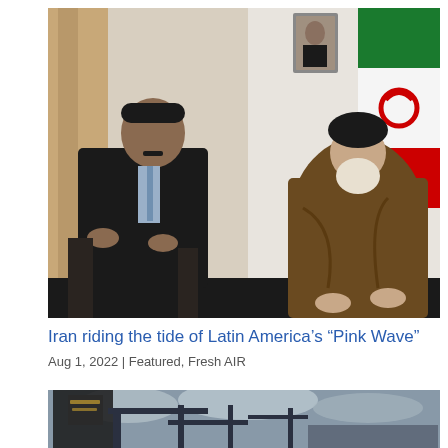[Figure (photo): Two men seated facing each other in a formal meeting room. On the left, a man in a dark suit with a patterned tie. On the right, an elderly bearded man in brown religious robes and black turban. An Iranian flag is visible in the background, along with a portrait on the wall.]
Iran riding the tide of Latin America's “Pink Wave”
Aug 1, 2022 | Featured, Fresh AIR
[Figure (photo): Partial view of a scene with dark flags and what appears to be machinery or equipment against a cloudy sky.]